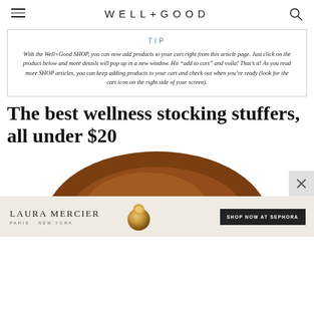WELL+GOOD
TIP
With the Well+Good SHOP, you can now add products to your cart right from this article page. Just click on the product below and more details will pop up in a new window. Hit “add to cart” and voila! That’s it! As you read more SHOP articles, you can keep adding products to your cart and check out when you’re ready (look for the cart icon on the right side of your screen).
The best wellness stocking stuffers, all under $20
[Figure (photo): Partial top view of a round wooden bowl or product, brown tones, cropped at page edge]
[Figure (infographic): Laura Mercier advertisement banner with brand name, Paris/New York subtitle, product image, and Shop Now at Sephora button]